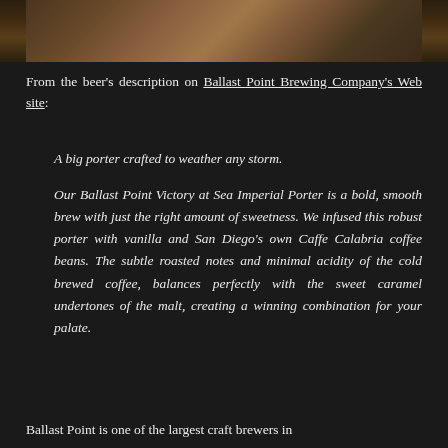[Figure (photo): A photo strip showing beer glasses or bottles with dark background, partially visible at top of page]
From the beer's description on Ballast Point Brewing Company's Web site:
A big porter crafted to weather any storm.
Our Ballast Point Victory at Sea Imperial Porter is a bold, smooth brew with just the right amount of sweetness. We infused this robust porter with vanilla and San Diego's own Caffe Calabria coffee beans. The subtle roasted notes and minimal acidity of the cold brewed coffee, balances perfectly with the sweet caramel undertones of the malt, creating a winning combination for your palate.
Ballast Point is one of the largest craft brewers in